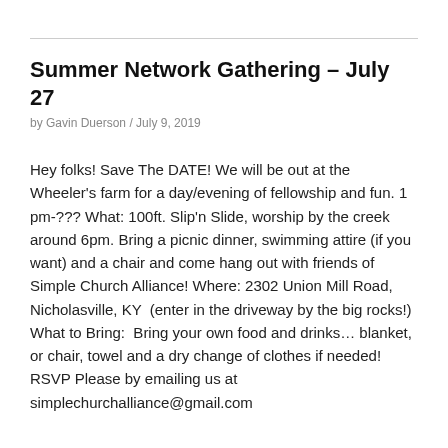Summer Network Gathering – July 27
by Gavin Duerson / July 9, 2019
Hey folks! Save The DATE! We will be out at the Wheeler's farm for a day/evening of fellowship and fun. 1 pm-??? What: 100ft. Slip'n Slide, worship by the creek around 6pm. Bring a picnic dinner, swimming attire (if you want) and a chair and come hang out with friends of Simple Church Alliance! Where: 2302 Union Mill Road, Nicholasville, KY  (enter in the driveway by the big rocks!) What to Bring:  Bring your own food and drinks… blanket, or chair, towel and a dry change of clothes if needed!     RSVP Please by emailing us at simplechurchalliance@gmail.com